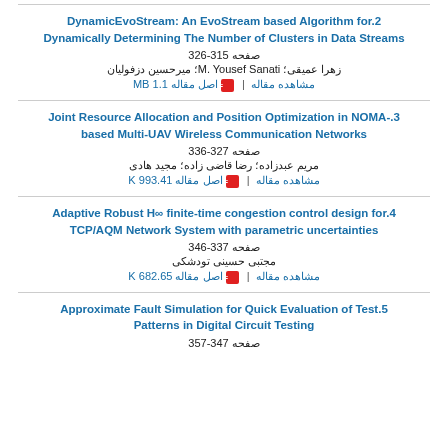.2 DynamicEvoStream: An EvoStream based Algorithm for Dynamically Determining The Number of Clusters in Data Streams
صفحه 315-326
زهرا عمیقی؛ M. Yousef Sanati؛ میرحسین دزفولیان
مشاهده مقاله | اصل مقاله 1.1 MB
.3 Joint Resource Allocation and Position Optimization in NOMA-based Multi-UAV Wireless Communication Networks
صفحه 327-336
مریم عبدزاده؛ رضا قاضی زاده؛ مجید هادی
مشاهده مقاله | اصل مقاله 993.41 K
.4 Adaptive Robust H∞ finite-time congestion control design for TCP/AQM Network System with parametric uncertainties
صفحه 337-346
مجتبی حسینی تودشکی
مشاهده مقاله | اصل مقاله 682.65 K
.5 Approximate Fault Simulation for Quick Evaluation of Test Patterns in Digital Circuit Testing
صفحه 347-357